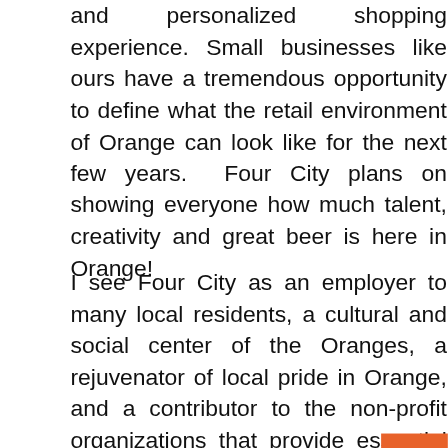and personalized shopping experience. Small businesses like ours have a tremendous opportunity to define what the retail environment of Orange can look like for the next few years.  Four City plans on showing everyone how much talent, creativity and great beer is here in Orange!
I see Four City as an employer to many local residents, a cultural and social center of the Oranges, a rejuvenator of local pride in Orange, and a contributor to the non-profit organizations that provide essential services to Orange.
[Figure (photo): A partial photograph visible at the bottom of the page, appearing to show people or an outdoor scene in warm tones]